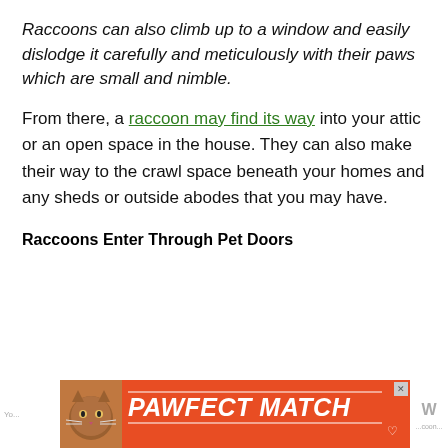Raccoons can also climb up to a window and easily dislodge it carefully and meticulously with their paws which are small and nimble.
From there, a raccoon may find its way into your attic or an open space in the house. They can also make their way to the crawl space beneath your homes and any sheds or outside abodes that you may have.
Raccoons Enter Through Pet Doors
[Figure (infographic): Advertisement banner: PAWFECT MATCH with orange background, cat image on left, close button top right]